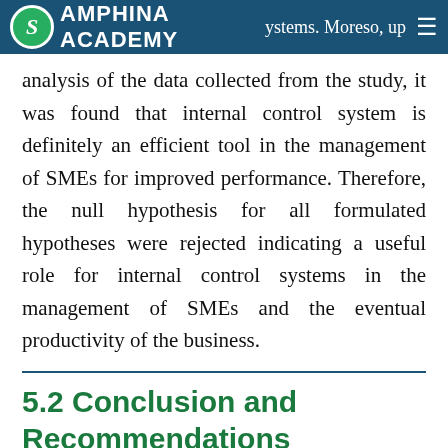SAMPHINA ACADEMY  systems. Moreso, up≡
analysis of the data collected from the study, it was found that internal control system is definitely an efficient tool in the management of SMEs for improved performance. Therefore, the null hypothesis for all formulated hypotheses were rejected indicating a useful role for internal control systems in the management of SMEs and the eventual productivity of the business.
5.2 Conclusion and Recommendations